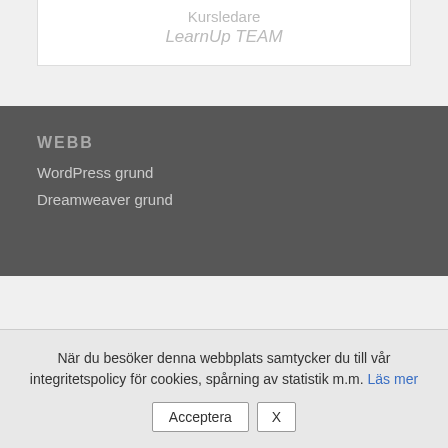Kursledare
LearnUp TEAM
WEBB
WordPress grund
Dreamweaver grund
När du besöker denna webbplats samtycker du till vår integritetspolicy för cookies, spårning av statistik m.m. Läs mer
Acceptera
X